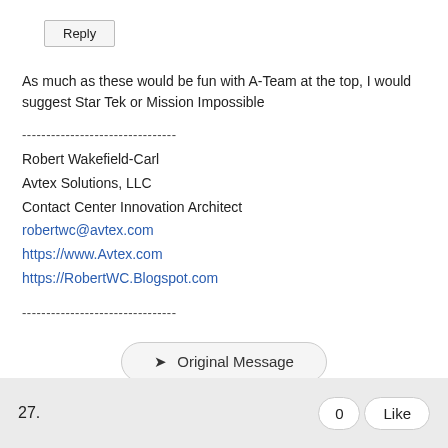Reply
As much as these would be fun with A-Team at the top, I would suggest Star Tek or Mission Impossible
--------------------------------
Robert Wakefield-Carl
Avtex Solutions, LLC
Contact Center Innovation Architect
robertwc@avtex.com
https://www.Avtex.com
https://RobertWC.Blogspot.com
--------------------------------
➤ Original Message
27.
0   Like